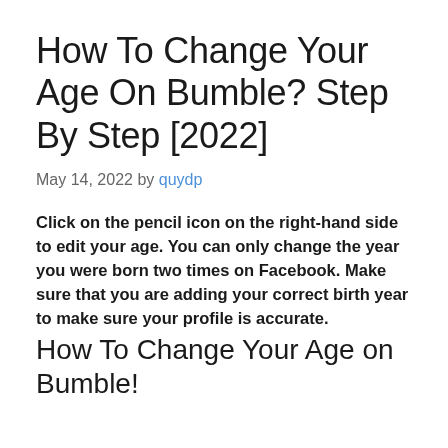How To Change Your Age On Bumble? Step By Step [2022]
May 14, 2022 by quydp
Click on the pencil icon on the right-hand side to edit your age. You can only change the year you were born two times on Facebook. Make sure that you are adding your correct birth year to make sure your profile is accurate.
How To Change Your Age on Bumble!